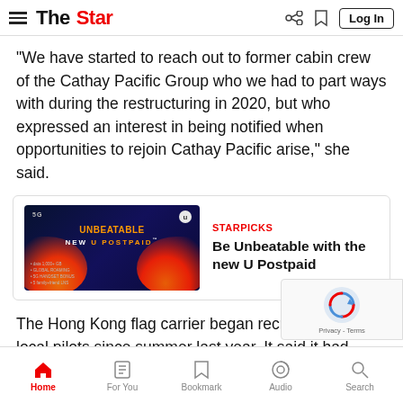The Star — Log In
“We have started to reach out to former cabin crew of the Cathay Pacific Group who we had to part ways with during the restructuring in 2020, but who expressed an interest in being notified when opportunities to rejoin Cathay Pacific arise,” she said.
[Figure (advertisement): STARPICKS advertisement for U Postpaid with orange flame graphics on dark background, headline: Be Unbeatable with the new U Postpaid]
The Hong Kong flag carrier began recruiting more local pilots since summer last year. It said it had added 200 pilots to Cathay Pacific, with a total of 300 across the Cathay P…
Home | For You | Bookmark | Audio | Search